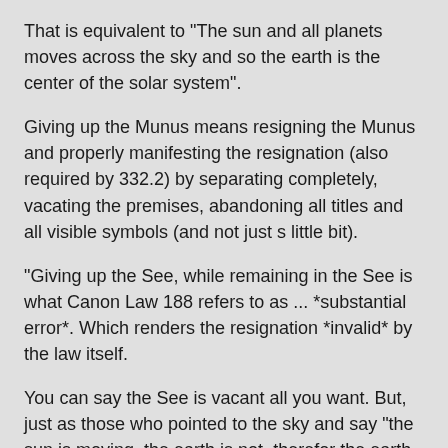That is equivalent to "The sun and all planets moves across the sky and so the earth is the center of the solar system".
Giving up the Munus means resigning the Munus and properly manifesting the resignation (also required by 332.2) by separating completely, vacating the premises, abandoning all titles and all visible symbols (and not just s little bit).
"Giving up the See, while remaining in the See is what Canon Law 188 refers to as ... *substantial error*. Which renders the resignation *invalid* by the law itself.
You can say the See is vacant all you want. But, just as those who pointed to the sky and say "the sun is moving, the earth is not, therefor the earth is the center of the solar system"; so also those who say the "He said the See is vacant, therefor it